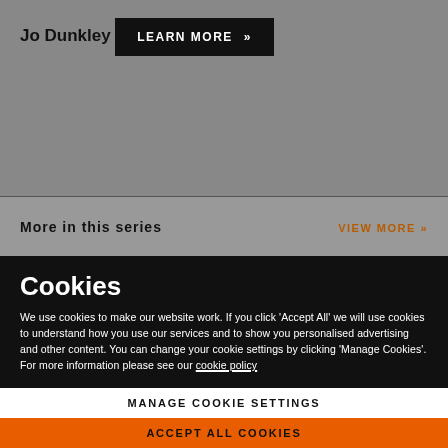Jo Dunkley
LEARN MORE >>
More in this series
VIEW MORE >>
Cookies
We use cookies to make our website work. If you click 'Accept All' we will use cookies to understand how you use our services and to show you personalised advertising and other content. You can change your cookie settings by clicking 'Manage Cookies'. For more information please see our cookie policy
MANAGE COOKIE SETTINGS
ACCEPT ALL COOKIES